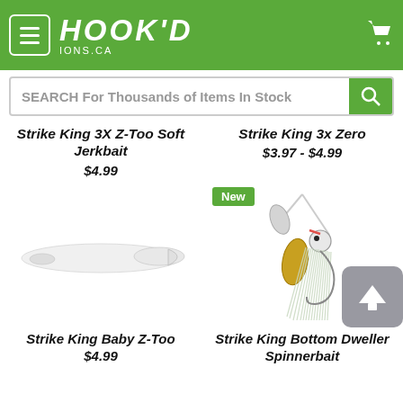HOOK'D IONS.CA — Navigation header with menu, logo, cart
SEARCH For Thousands of Items In Stock
Strike King 3X Z-Too Soft Jerkbait
$4.99
Strike King 3x Zero
$3.97 - $4.99
[Figure (photo): White soft jerkbait fishing lure (Strike King Baby Z-Too)]
Strike King Baby Z-Too
$4.99
[Figure (photo): Strike King Bottom Dweller Spinnerbait with gold blades and white skirt, marked as New]
Strike King Bottom Dweller Spinnerbait